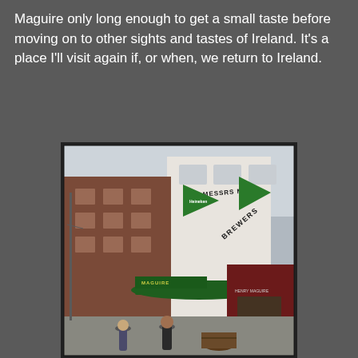Maguire only long enough to get a small taste before moving on to other sights and tastes of Ireland. It's a place I'll visit again if, or when, we return to Ireland.
[Figure (photo): Street-level photograph of Messrs Maguire brewpub on a pedestrian street in Dublin, Ireland. The building is white with green banners/flags and signage reading 'Messrs Maguire' and 'Brewers'. People are walking on the footpath in front. Adjacent shopfronts visible including a dark red/maroon shop.]